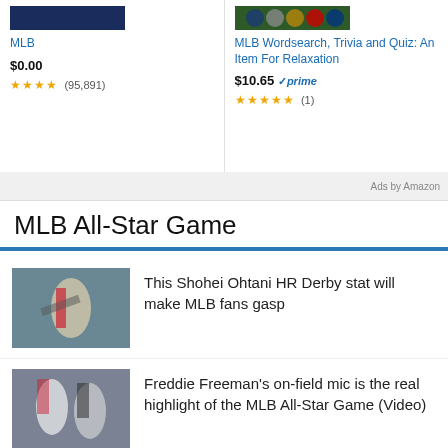MLB
$0.00
★★★★ (95,891)
MLB Wordsearch, Trivia and Quiz: An Item For Relaxation
$10.65 ✓prime
★★★★★ (1)
Ads by Amazon
MLB All-Star Game
[Figure (photo): Baseball player batting, crowd in background]
This Shohei Ohtani HR Derby stat will make MLB fans gasp
[Figure (photo): Two baseball players on field]
Freddie Freeman's on-field mic is the real highlight of the MLB All-Star Game (Video)